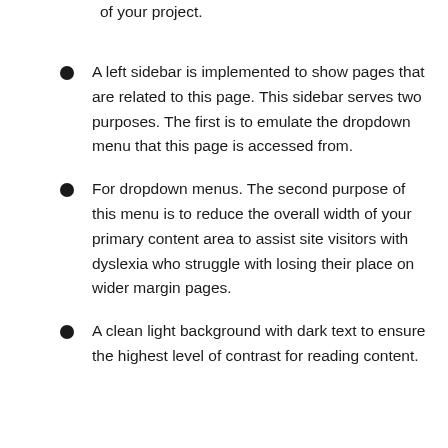of your project.
A left sidebar is implemented to show pages that are related to this page. This sidebar serves two purposes. The first is to emulate the dropdown menu that this page is accessed from.
For dropdown menus. The second purpose of this menu is to reduce the overall width of your primary content area to assist site visitors with dyslexia who struggle with losing their place on wider margin pages.
A clean light background with dark text to ensure the highest level of contrast for reading content.